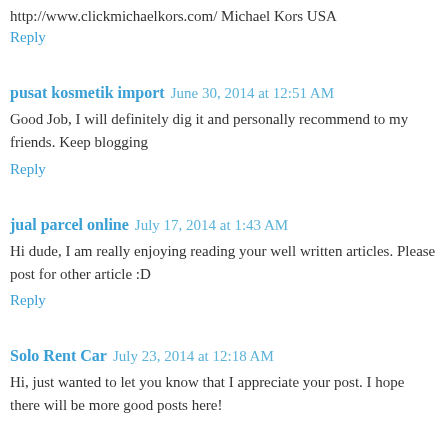http://www.clickmichaelkors.com/ Michael Kors USA
Reply
pusat kosmetik import  June 30, 2014 at 12:51 AM
Good Job, I will definitely dig it and personally recommend to my friends. Keep blogging
Reply
jual parcel online  July 17, 2014 at 1:43 AM
Hi dude, I am really enjoying reading your well written articles. Please post for other article :D
Reply
Solo Rent Car  July 23, 2014 at 12:18 AM
Hi, just wanted to let you know that I appreciate your post. I hope there will be more good posts here!